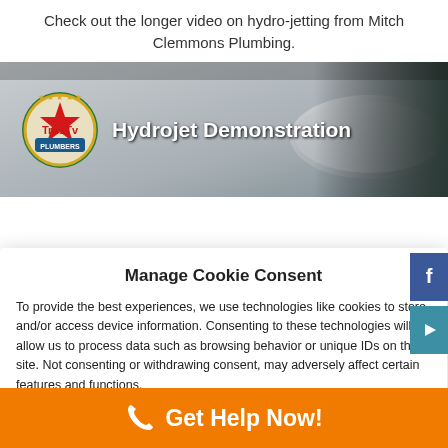Check out the longer video on hydro-jetting from Mitch Clemmons Plumbing.
[Figure (screenshot): Video thumbnail showing 'Hydrojet Demonstration' with TrusTv Plumbers logo on left and a clogged pipe in background]
Manage Cookie Consent
To provide the best experiences, we use technologies like cookies to store and/or access device information. Consenting to these technologies will allow us to process data such as browsing behavior or unique IDs on this site. Not consenting or withdrawing consent, may adversely affect certain features and functions.
Accept
Get Help Now!